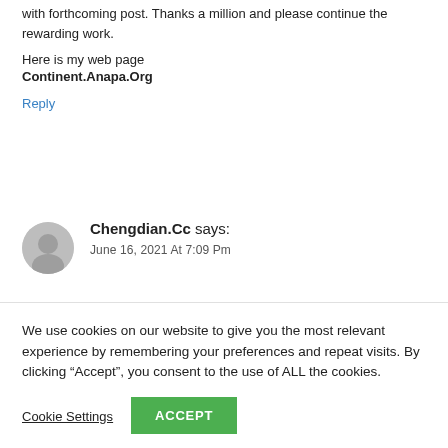with forthcoming post. Thanks a million and please continue the rewarding work.
Here is my web page
Continent.Anapa.Org
Reply
Chengdian.Cc says:
June 16, 2021 At 7:09 Pm
We use cookies on our website to give you the most relevant experience by remembering your preferences and repeat visits. By clicking “Accept”, you consent to the use of ALL the cookies.
Cookie Settings
ACCEPT